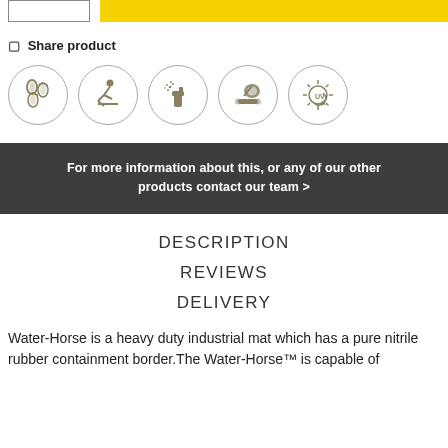[Figure (other): Top bar with a small white rectangle outline on the left and a yellow filled bar on the right]
⬜ Share product
[Figure (infographic): Five circular icons: footprint (foot traffic), slip hazard (person slipping), spray/cleaning, vacuum cleaner, UV protection]
For more information about this, or any of our other products contact our team >
DESCRIPTION
REVIEWS
DELIVERY
Water-Horse is a heavy duty industrial mat which has a pure nitrile rubber containment border.The Water-Horse™ is capable of